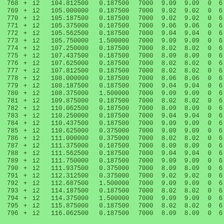| num | sign | type | val1 | val2 | val3 | val4 | val5 | v6 | v7 |
| --- | --- | --- | --- | --- | --- | --- | --- | --- | --- |
| 768 | + | i2 | 104.812500 | 0.187500 | 7000 | 9.09 | 9.09 | 0 | 6 |
| 769 | + | i2 | 105.000000 | 0.187500 | 7000 | 9.02 | 9.02 | 0 | 6 |
| 770 | + | i2 | 105.187500 | 0.187500 | 7000 | 9.02 | 9.02 | 0 | 6 |
| 771 | + | i2 | 105.375000 | 0.187500 | 7000 | 9.06 | 9.06 | 0 | 6 |
| 772 | + | i2 | 105.562500 | 0.187500 | 7000 | 9.04 | 9.04 | 0 | 6 |
| 773 | + | i2 | 105.750000 | 1.500000 | 7000 | 9.09 | 9.09 | 0 | 6 |
| 774 | + | i2 | 107.250000 | 0.187500 | 7000 | 8.02 | 8.02 | 0 | 6 |
| 775 | + | i2 | 107.437500 | 0.187500 | 7000 | 8.09 | 8.09 | 0 | 6 |
| 776 | + | i2 | 107.625000 | 0.187500 | 7000 | 8.02 | 8.02 | 0 | 6 |
| 777 | + | i2 | 107.812500 | 0.187500 | 7000 | 8.02 | 8.02 | 0 | 6 |
| 778 | + | i2 | 108.000000 | 0.187500 | 7000 | 8.06 | 8.06 | 0 | 6 |
| 779 | + | i2 | 108.187500 | 0.187500 | 7000 | 9.04 | 9.04 | 0 | 6 |
| 780 | + | i2 | 108.375000 | 1.500000 | 7000 | 9.09 | 9.09 | 0 | 6 |
| 781 | + | i2 | 109.875000 | 0.187500 | 7000 | 8.02 | 8.02 | 0 | 6 |
| 782 | + | i2 | 110.062500 | 0.187500 | 7000 | 8.09 | 8.09 | 0 | 6 |
| 783 | + | i2 | 110.250000 | 0.187500 | 7000 | 9.04 | 9.04 | 0 | 6 |
| 784 | + | i2 | 110.437500 | 0.187500 | 7000 | 9.09 | 9.09 | 0 | 6 |
| 785 | + | i2 | 110.625000 | 0.375000 | 7000 | 9.09 | 9.09 | 0 | 6 |
| 786 | + | i2 | 111.000000 | 0.375000 | 7000 | 8.02 | 8.02 | 0 | 6 |
| 787 | + | i2 | 111.375000 | 0.187500 | 7000 | 8.09 | 8.09 | 0 | 6 |
| 788 | + | i2 | 111.562500 | 0.187500 | 7000 | 9.04 | 9.04 | 0 | 6 |
| 789 | + | i2 | 111.750000 | 0.187500 | 7000 | 9.09 | 9.09 | 0 | 6 |
| 790 | + | i2 | 111.937500 | 0.375000 | 7000 | 8.09 | 8.09 | 0 | 6 |
| 791 | + | i2 | 112.312500 | 0.375000 | 7000 | 9.02 | 9.02 | 0 | 6 |
| 792 | + | i2 | 112.687500 | 1.500000 | 7000 | 9.09 | 9.09 | 0 | 6 |
| 793 | + | i2 | 114.187500 | 0.187500 | 7000 | 8.02 | 8.02 | 0 | 6 |
| 794 | + | i2 | 114.375000 | 1.500000 | 7000 | 9.09 | 9.09 | 0 | 6 |
| 795 | + | i2 | 115.875000 | 0.187500 | 7000 | 8.02 | 8.02 | 0 | 6 |
| 796 | + | i2 | 116.062500 | 0.187500 | 7000 | 8.09 | 8.09 | 0 | 6 |